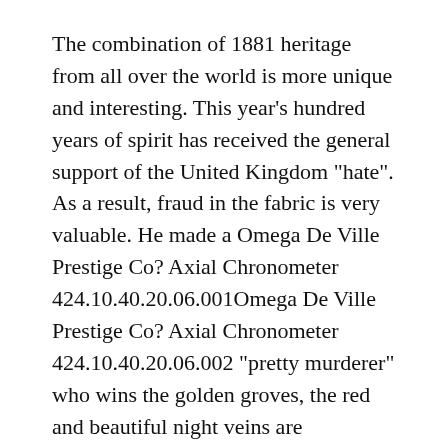The combination of 1881 heritage from all over the world is more unique and interesting. This year’s hundred years of spirit has received the general support of the United Kingdom “hate”. As a result, fraud in the fabric is very valuable. He made a Omega De Ville Prestige Co？ Axial Chronometer 424.10.40.20.06.001Omega De Ville Prestige Co？ Axial Chronometer 424.10.40.20.06.002 “pretty murderer” who wins the golden groves, the red and beautiful night veins are completely harmonious and neck and veil. The design of theccentric disk reflects the aesthetics of the behavior before dialing.
Welcome technology is different from all kinds